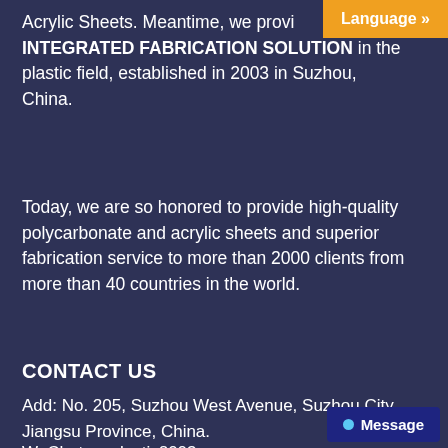Acrylic Sheets. Meantime, we provide INTEGRATED FABRICATION SOLUTION in the plastic field, established in 2003 in Suzhou, China.
Today, we are so honored to provide high-quality polycarbonate and acrylic sheets and superior fabrication service to more than 2000 clients from more than 40 countries in the world.
CONTACT US
Add: No. 205, Suzhou West Avenue, Suzhou City, Jiangsu Province, China.
Phone: +86 512 85186727
WhatsApp: +86 18118123076
WeChat: uvplastic2003
Skype: 15005466821@163.com